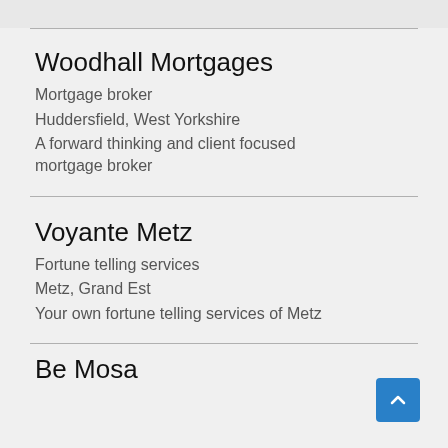Woodhall Mortgages
Mortgage broker
Huddersfield, West Yorkshire
A forward thinking and client focused mortgage broker
Voyante Metz
Fortune telling services
Metz, Grand Est
Your own fortune telling services of Metz
Be Mosa